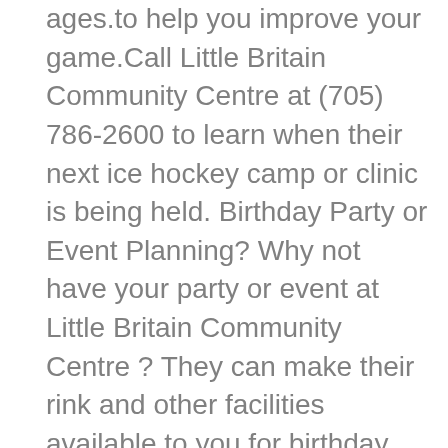ages.to help you improve your game.Call Little Britain Community Centre at (705) 786-2600 to learn when their next ice hockey camp or clinic is being held. Birthday Party or Event Planning? Why not have your party or event at Little Britain Community Centre ? They can make their rink and other facilities available to you for birthday parties, holiday parties or corporate events. Their prices are great. They would love to have you out. Give them a call if you would like to schedule your event now at (705) 786-2600. Please call at least one week in advance to properly schedule your event. Snack Bar Got the munchies? Little Britain Community Centre provides food